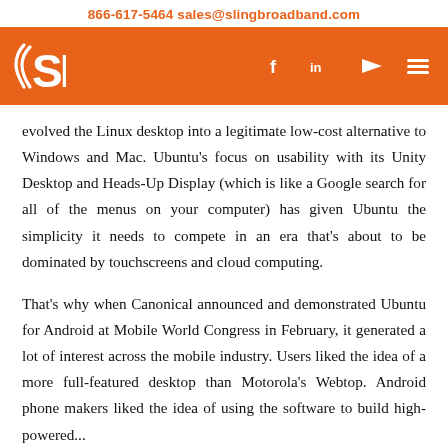866-617-5464    sales@slingbroadband.com
[Figure (logo): Sling Broadband logo with orange background, SB initials with wave marks, and social media icons (Facebook, LinkedIn, YouTube, menu)]
evolved the Linux desktop into a legitimate low-cost alternative to Windows and Mac. Ubuntu's focus on usability with its Unity Desktop and Heads-Up Display (which is like a Google search for all of the menus on your computer) has given Ubuntu the simplicity it needs to compete in an era that's about to be dominated by touchscreens and cloud computing.
That's why when Canonical announced and demonstrated Ubuntu for Android at Mobile World Congress in February, it generated a lot of interest across the mobile industry. Users liked the idea of a more full-featured desktop than Motorola's Webtop. Android phone makers liked the idea of using the software to build high-powered...